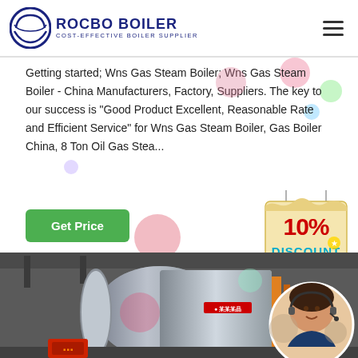ROCBO BOILER - COST-EFFECTIVE BOILER SUPPLIER
Getting started; Wns Gas Steam Boiler; Wns Gas Steam Boiler - China Manufacturers, Factory, Suppliers. The key to our success is "Good Product Excellent, Reasonable Rate and Efficient Service" for Wns Gas Steam Boiler, Gas Boiler China, 8 Ton Oil Gas Stea...
[Figure (other): Green 'Get Price' button]
[Figure (infographic): 10% Discount promotional badge with red bold text on a hanging tag graphic]
[Figure (photo): Industrial gas steam boiler in a factory setting, large cylindrical vessel with metallic finish, pipes and equipment visible in background. A circular inset shows a smiling female customer service representative wearing a headset.]